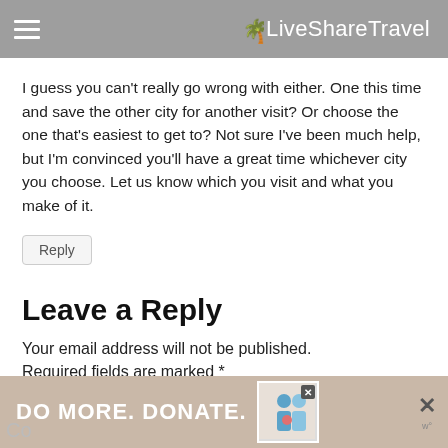LiveShareTravel
I guess you can't really go wrong with either. One this time and save the other city for another visit? Or choose the one that's easiest to get to? Not sure I've been much help, but I'm convinced you'll have a great time whichever city you choose. Let us know which you visit and what you make of it.
Reply
Leave a Reply
Your email address will not be published. Required fields are marked *
[Figure (other): Advertisement banner: DO MORE. DONATE. with images of people and a close button]